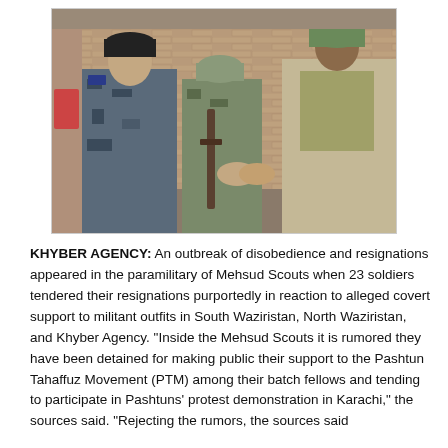[Figure (photo): Photograph of military/paramilitary soldiers in camouflage uniforms and helmets shaking hands, with rifles visible, in front of a brick wall.]
KHYBER AGENCY: An outbreak of disobedience and resignations appeared in the paramilitary of Mehsud Scouts when 23 soldiers tendered their resignations purportedly in reaction to alleged covert support to militant outfits in South Waziristan, North Waziristan, and Khyber Agency. “Inside the Mehsud Scouts it is rumored they have been detained for making public their support to the Pashtun Tahaffuz Movement (PTM) among their batch fellows and tending to participate in Pashtuns’ protest demonstration in Karachi,” the sources said. “Rejecting the rumors, the sources said